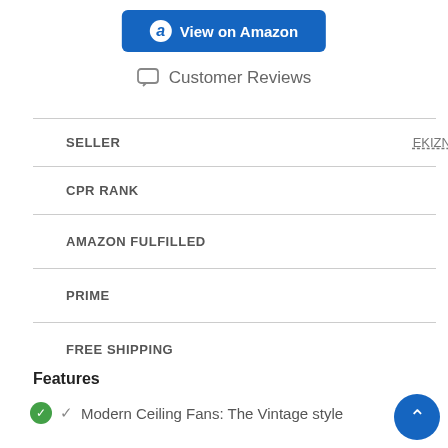View on Amazon
Customer Reviews
| Field | Value |
| --- | --- |
| SELLER | EKIZNSN |
| CPR RANK | - |
| AMAZON FULFILLED |  |
| PRIME |  |
| FREE SHIPPING |  |
Features
✓ Modern Ceiling Fans: The Vintage style